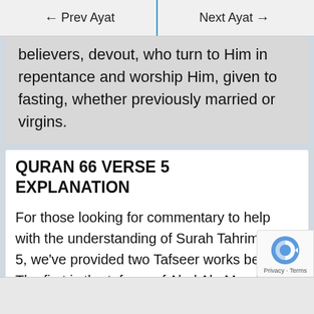← Prev Ayat   Next Ayat →
believers, devout, who turn to Him in repentance and worship Him, given to fasting, whether previously married or virgins.
QURAN 66 VERSE 5 EXPLANATION
For those looking for commentary to help with the understanding of Surah Tahrim ayat 5, we've provided two Tafseer works below. The first is the tafseer of Abul Ala Maududi, the second is of Ibn Kathir.